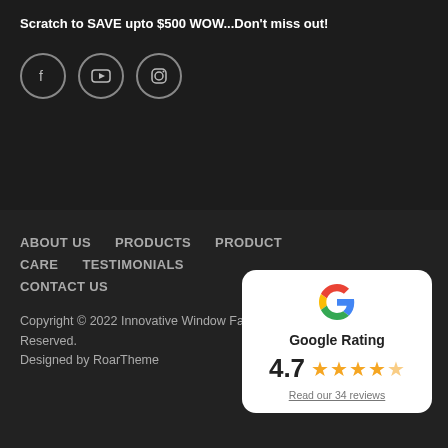Scratch to SAVE upto $500 WOW...Don't miss out!
[Figure (infographic): Three social media icons in circles: Facebook (f), YouTube (play button), Instagram (camera)]
ABOUT US   PRODUCTS   PRODUCT CARE   TESTIMONIALS   CONTACT US
Copyright © 2022 Innovative Window Fashions and All Rights Reserved.
Designed by RoarTheme
[Figure (infographic): Google Rating card with Google G logo, rating 4.7 stars out of 5, and link 'Read our 34 reviews']